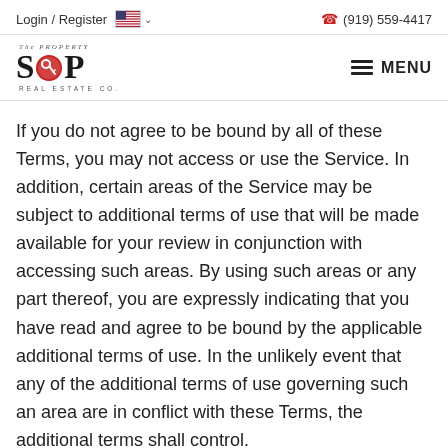Login / Register  (919) 559-4417
[Figure (logo): The Property Shop Real Estate Co. logo with red circular icon]
If you do not agree to be bound by all of these Terms, you may not access or use the Service. In addition, certain areas of the Service may be subject to additional terms of use that will be made available for your review in conjunction with accessing such areas. By using such areas or any part thereof, you are expressly indicating that you have read and agree to be bound by the applicable additional terms of use. In the unlikely event that any of the additional terms of use governing such an area are in conflict with these Terms, the additional terms shall control.